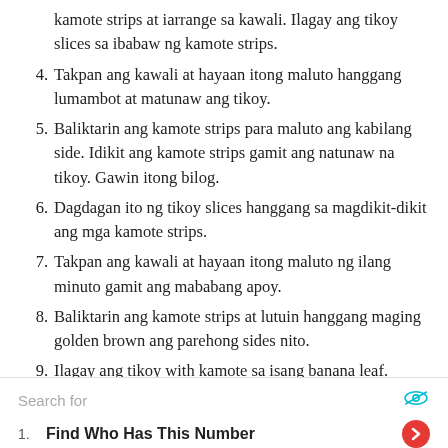kamote strips at iarrange sa kawali. Ilagay ang tikoy slices sa ibabaw ng kamote strips.
4. Takpan ang kawali at hayaan itong maluto hanggang lumambot at matunaw ang tikoy.
5. Baliktarin ang kamote strips para maluto ang kabilang side. Idikit ang kamote strips gamit ang natunaw na tikoy. Gawin itong bilog.
6. Dagdagan ito ng tikoy slices hanggang sa magdikit-dikit ang mga kamote strips.
7. Takpan ang kawali at hayaan itong maluto ng ilang minuto gamit ang mababang apoy.
8. Baliktarin ang kamote strips at lutuin hanggang maging golden brown ang parehong sides nito.
9. Ilagay ang tikoy with kamote sa isang banana leaf. Enjoy!
Search for
1. Find Who Has This Number